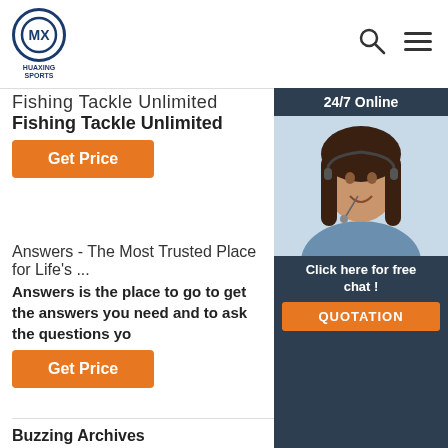HUAXING SPORTS
Fishing Tackle Unlimited
Fishing Tackle Unlimited
Get Price
[Figure (photo): 24/7 Online customer support advertisement with photo of woman wearing headset. Click here for free chat! QUOTATION button.]
Answers - The Most Trusted Place for Life's ...
Answers is the place to go to get the answers you need and to ask the questions yo
Get Price
Buzzing Archives
Click to get the latest Buzzing content. Take A Sneak Peak At The Movies Coming Out This Week (9/19) Miami Music Thursday: A Complete Guide